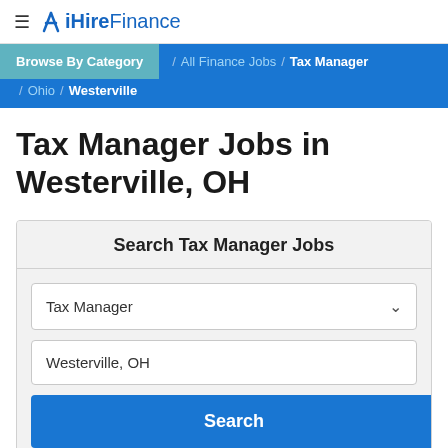≡ iHireFinance
Browse By Category / All Finance Jobs / Tax Manager / Ohio / Westerville
Tax Manager Jobs in Westerville, OH
Search Tax Manager Jobs
Tax Manager
Westerville, OH
Search